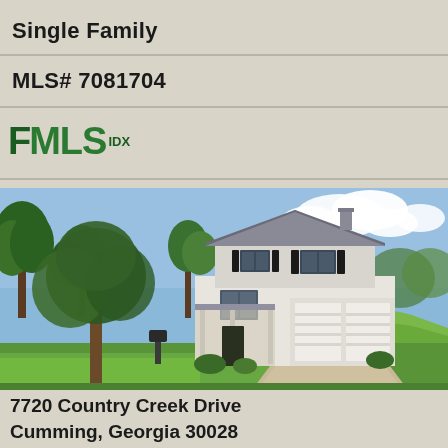Single Family
MLS# 7081704
[Figure (logo): FMLS IDX logo in green]
[Figure (photo): Two-story single family home with white siding, dark shutters, two-car garage, large front lawn with mature trees, and concrete driveway. Located at 7720 Country Creek Drive, Cumming, Georgia.]
7720 Country Creek Drive
Cumming, Georgia 30028